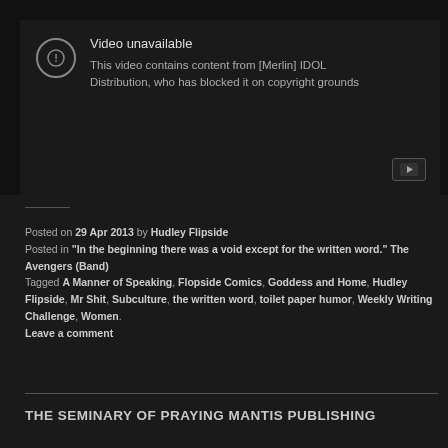[Figure (screenshot): YouTube embedded video unavailable message. Dark background with a circle-exclamation icon. Text reads 'Video unavailable' and 'This video contains content from [Merlin] IDOL Distribution, who has blocked it on copyright grounds'. YouTube logo button in bottom right corner.]
Posted on 29 Apr 2013 by Hudley Flipside
Posted in "In the beginning there was a void except for the written word." The Avengers (Band)
Tagged A Manner of Speaking, Flopside Comics, Goddess and Home, Hudley Flipside, Mr Shit, Subculture, the written word, toilet paper humor, Weekly Writing Challenge, Women.
Leave a comment
THE SEMINARY OF PRAYING MANTIS PUBLISHING